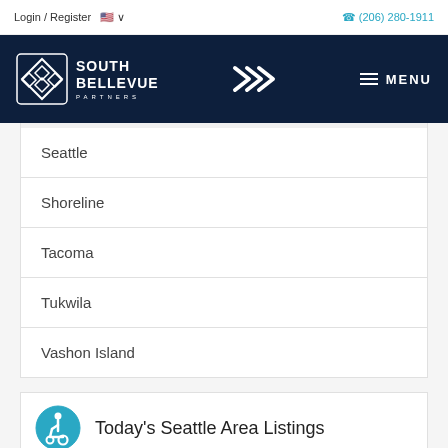Login / Register   (206) 280-1911
[Figure (logo): South Bellevue Partners logo with diamond grid icon and center chevron logo, on dark navy navigation bar with MENU hamburger]
Seattle
Shoreline
Tacoma
Tukwila
Vashon Island
Today's Seattle Area Listings